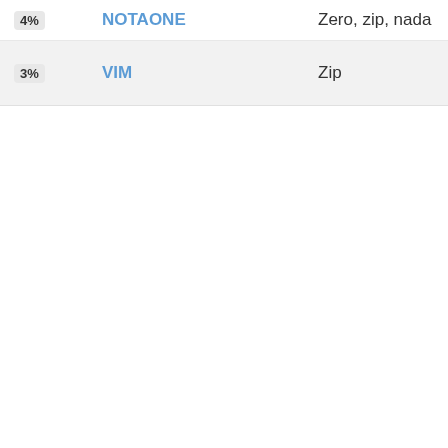| Pct | Name | Description |
| --- | --- | --- |
| 4% | NOTAONE | Zero, zip, nada |
| 3% | VIM | Zip |